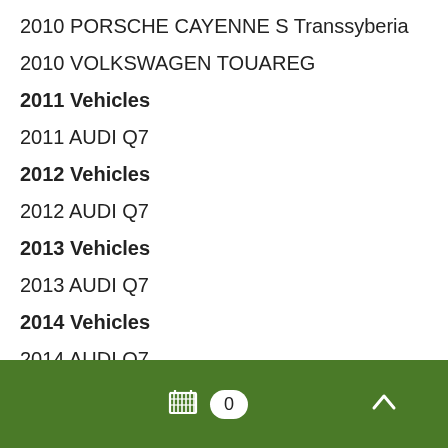2010 PORSCHE CAYENNE S Transsyberia
2010 VOLKSWAGEN TOUAREG
2011 Vehicles
2011 AUDI Q7
2012 Vehicles
2012 AUDI Q7
2013 Vehicles
2013 AUDI Q7
2014 Vehicles
2014 AUDI Q7
2015 Vehicles
2015 AUDI Q7
0